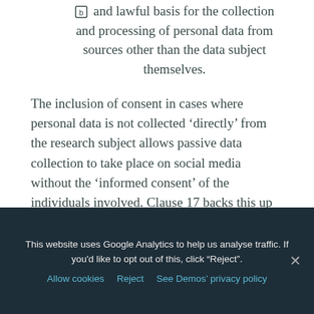Members must ensure that they have a fair and lawful basis for the collection and processing of personal data from sources other than the data subject themselves.
The inclusion of consent in cases where personal data is not collected ‘directly’ from the research subject allows passive data collection to take place on social media without the ‘informed consent’ of the individuals involved. Clause 17 backs this up by saying expressly that processing personal data from third parties may be allowed so long as it is lawful and in line with terms of use.
The extent to which all of these principles are applicable will partly depend on the extent to
This website uses Google Analytics to help us analyse traffic. If you’d like to opt out of this, click "Reject". Allow cookies Reject See Demos’ privacy policy